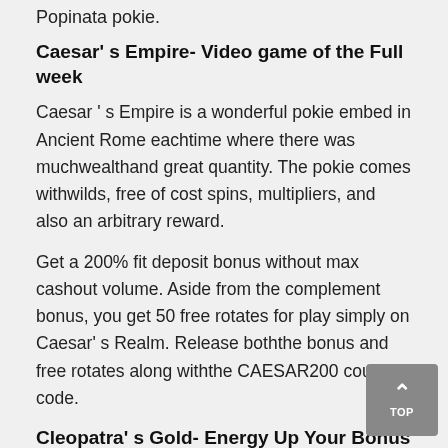Popinata pokie.
Caesar' s Empire- Video game of the Full week
Caesar ' s Empire is a wonderful pokie embed in Ancient Rome eachtime where there was muchwealthand great quantity. The pokie comes withwilds, free of cost spins, multipliers, and also an arbitrary reward.
Get a 200% fit deposit bonus without max cashout volume. Aside from the complement bonus, you get 50 free rotates for play simply on Caesar' s Realm. Release boththe bonus and free rotates along withthe CAESAR200 coupon code.
Cleopatra' s Gold- Energy Up Your Bonus
From Ancient Rome our team ward off to Historical Egypt this time for a special deal on Cleopatra' s Gold. The